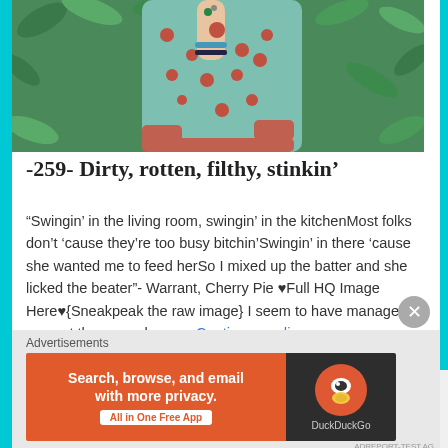[Figure (photo): A person wearing a teal/mint top with red cherry/dot pattern, arm raised, wearing bracelets, surrounded by green foliage leaves background.]
-259- Dirty, rotten, filthy, stinkin’
"Swingin' in the living room, swingin' in the kitchenMost folks don't 'cause they're too busy bitchin'Swingin' in there 'cause she wanted me to feed herSo I mixed up the batter and she licked the beater"- Warrant, Cherry Pie ♥Full HQ Image Here♥{Sneakpeak the raw image} I seem to have managed you get the song cherry… Continue reading
Advertisements
[Figure (screenshot): DuckDuckGo advertisement banner: orange left side with text 'Search, browse, and email with more privacy. All in One Free App', dark right side with DuckDuckGo duck logo.]